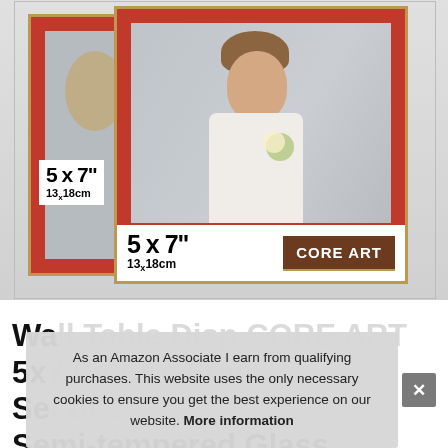[Figure (photo): Product photo showing two red picture frames with gold trim, size labeled 5x7 inches / 13x18cm, displaying a photo of a young girl in a white dress. CORE ART brand label visible on front frame.]
Wa... Table... Di... CORE ART 5x... Se... Semi-tempered Glass
As an Amazon Associate I earn from qualifying purchases. This website uses the only necessary cookies to ensure you get the best experience on our website. More information